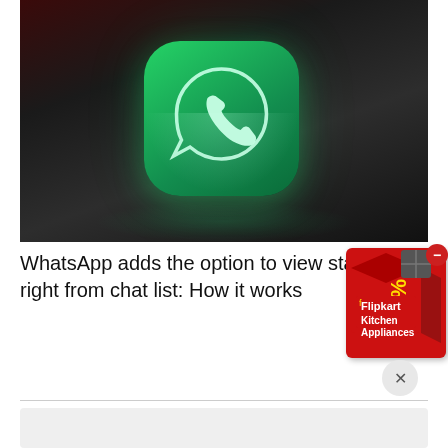[Figure (photo): Close-up photo of a green WhatsApp app icon with glowing phone/chat bubble logo on a dark background with subtle reflection on floor]
WhatsApp adds the option to view status right from chat list: How it works
[Figure (other): Flipkart advertisement banner showing a red 3D box with 70% discount on Kitchen Appliances, with a close button]